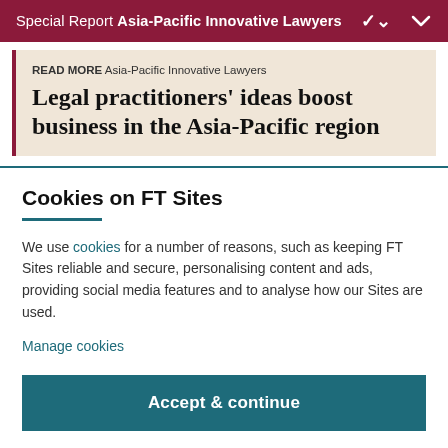Special Report Asia-Pacific Innovative Lawyers
READ MORE Asia-Pacific Innovative Lawyers
Legal practitioners' ideas boost business in the Asia-Pacific region
Cookies on FT Sites
We use cookies for a number of reasons, such as keeping FT Sites reliable and secure, personalising content and ads, providing social media features and to analyse how our Sites are used.
Manage cookies
Accept & continue